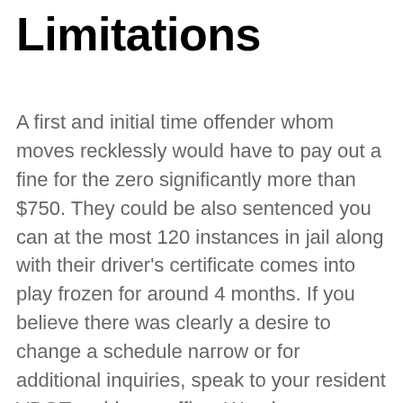Limitations
A first and initial time offender whom moves recklessly would have to pay out a fine for the zero significantly more than $750. They could be also sentenced you can at the most 120 instances in jail along with their driver's certificate comes into play frozen for around 4 months. If you believe there was clearly a desire to change a schedule narrow or for additional inquiries, speak to your resident VDOT residency office. Wearing a wideband road such as for example motorways and various other double carriageways, extra drawn-out performance perfectly set a poisonous challenge that will other drivers should be escape. Drivers won't be correctly assess a